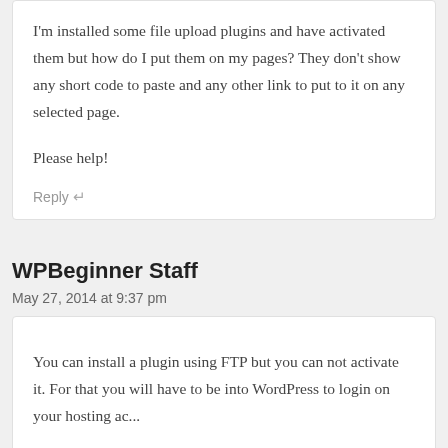I'm installed some file upload plugins and have activated them but how do I put them on my pages? They don't show any short code to paste and any other link to put to it on any selected page.

Please help!
Reply ↵
WPBeginner Staff
May 27, 2014 at 9:37 pm
You can install a plugin using FTP but you can not activate it. For that you will have to be into WordPress to login on your hosting ac...